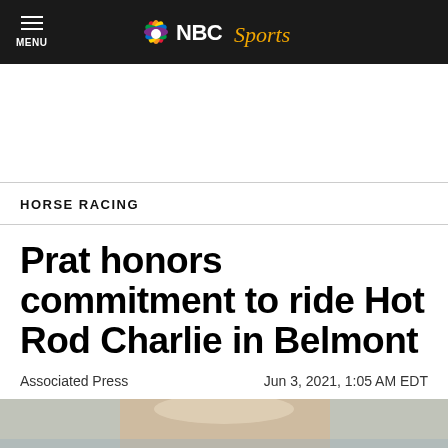NBC Sports
HORSE RACING
Prat honors commitment to ride Hot Rod Charlie in Belmont
Associated Press   Jun 3, 2021, 1:05 AM EDT
[Figure (photo): Photo of a person wearing a hat, partial view at bottom of page]